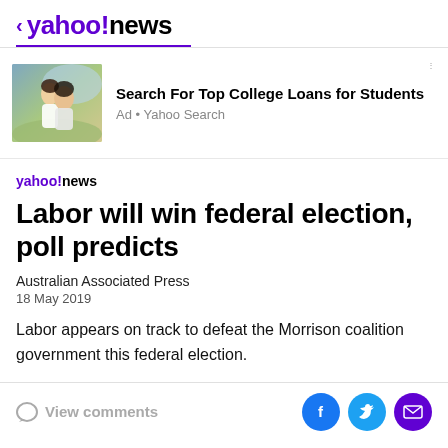< yahoo!news
[Figure (photo): Ad banner with two women laughing outdoors, promoting Search For Top College Loans for Students via Yahoo Search]
Search For Top College Loans for Students
Ad • Yahoo Search
Labor will win federal election, poll predicts
Australian Associated Press
18 May 2019
Labor appears on track to defeat the Morrison coalition government this federal election.
View comments